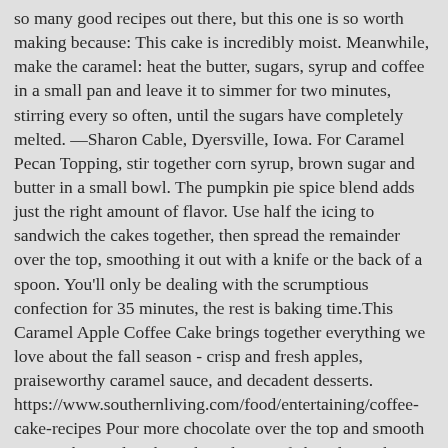so many good recipes out there, but this one is so worth making because: This cake is incredibly moist. Meanwhile, make the caramel: heat the butter, sugars, syrup and coffee in a small pan and leave it to simmer for two minutes, stirring every so often, until the sugars have completely melted. —Sharon Cable, Dyersville, Iowa. For Caramel Pecan Topping, stir together corn syrup, brown sugar and butter in a small bowl. The pumpkin pie spice blend adds just the right amount of flavor. Use half the icing to sandwich the cakes together, then spread the remainder over the top, smoothing it out with a knife or the back of a spoon. You'll only be dealing with the scrumptious confection for 35 minutes, the rest is baking time.This Caramel Apple Coffee Cake brings together everything we love about the fall season - crisp and fresh apples, praiseworthy caramel sauce, and decadent desserts. https://www.southernliving.com/food/entertaining/coffee-cake-recipes Pour more chocolate over the top and smooth over with spatula. This cake is layers of chocolate cake, with a coffee buttercream filling, a vanilla 'whipped cream' buttercream, caramel sauce drizzle and royal icing details. Bring on the pumpkin sheet cake! I made 1/2 the recipe and used a pie pan, as suggested by other users, and it was polished off in minutes! ... To make the cream cheese caramel icing: cream the butter with a freestanding mixer or in a bowl ... https://www.tasteofhome.com/recipes/pull-apart-caramel-coffee-